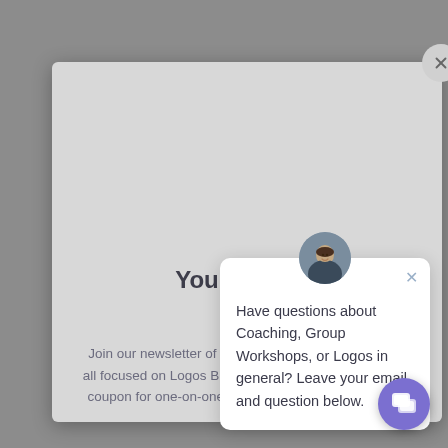[Figure (screenshot): A modal dialog with a light gray background, containing a title and newsletter subscription text. A circular close button appears in the top-right corner of the modal.]
You love L
Join our newsletter of giveaways, news, and reviews, all focused on Logos Bible Software and get a discount coupon for one-on-one Logos coaching in your inbox!
[Figure (screenshot): A chat popup card with a circular avatar photo of a man at the top, an X close button, and text reading: Have questions about Coaching, Group Workshops, or Logos in general? Leave your email and question below.]
Have questions about Coaching, Group Workshops, or Logos in general? Leave your email and question below.